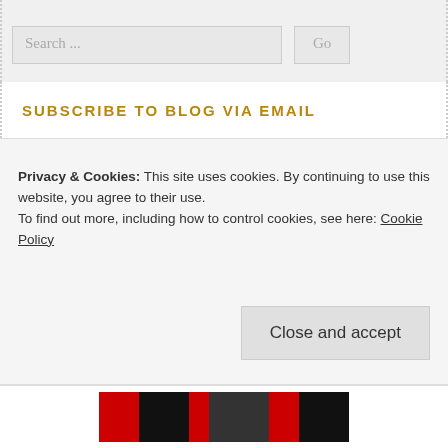Search ...
SUBSCRIBE TO BLOG VIA EMAIL
Enter your email address to subscribe to this blog and receive notifications of new posts by email.
Enter your email address
Subscribe
Privacy & Cookies: This site uses cookies. By continuing to use this website, you agree to their use. To find out more, including how to control cookies, see here: Cookie Policy
Close and accept
[Figure (photo): Bottom image strip with red and black graphic elements]